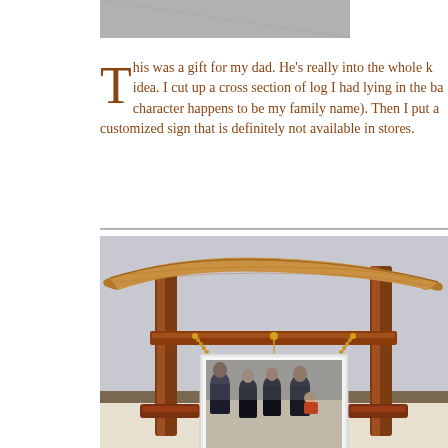[Figure (photo): Partial photo at top of page, partially cropped]
This was a gift for my dad.  He's really into the whole k idea.  I cut up a cross section of log I had lying in the ba character happens to be my family name).  Then I put a customized sign that is definitely not available in stores.
[Figure (photo): Photo of a wooden torii gate-style frame holding a suspended photograph of a family group, with chains supporting the photo frame]